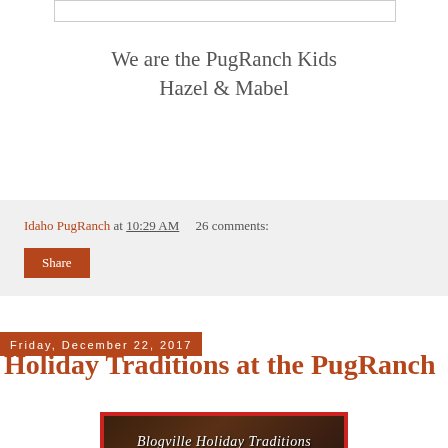[Figure (other): Top partial image placeholder, white rectangle with light border]
We are the PugRanch Kids
Hazel & Mabel
Idaho PugRanch at 10:29 AM   26 comments:
Share
Friday, December 22, 2017
Holiday Traditions at the PugRanch
[Figure (photo): Blogville Holiday Traditions decorative image with red border and dark background showing text 'Blogville Holiday Traditions' in cursive script]